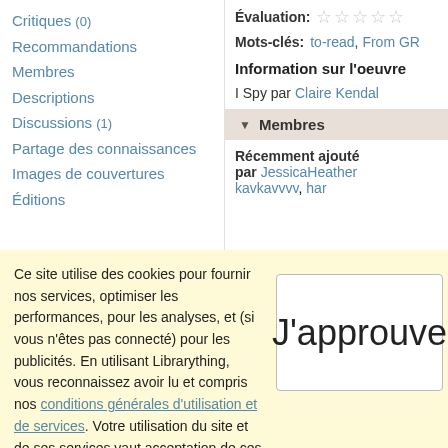Critiques (0)
Recommandations
Membres
Descriptions
Discussions (1)
Partage des connaissances
Images de couvertures
Éditions
Évaluation: ☆ ☆ ☆ ☆ ☆
Mots-clés: to-read, From GR
Information sur l'oeuvre
I Spy par Claire Kendal
▼ Membres
Récemment ajouté par JessicaHeather kavkavvvv, har
Ce site utilise des cookies pour fournir nos services, optimiser les performances, pour les analyses, et (si vous n'êtes pas connecté) pour les publicités. En utilisant Librarything, vous reconnaissez avoir lu et compris nos conditions générales d'utilisation et de services. Votre utilisation du site et de ses services vaut acceptation de ces conditions et termes.
J'approuve